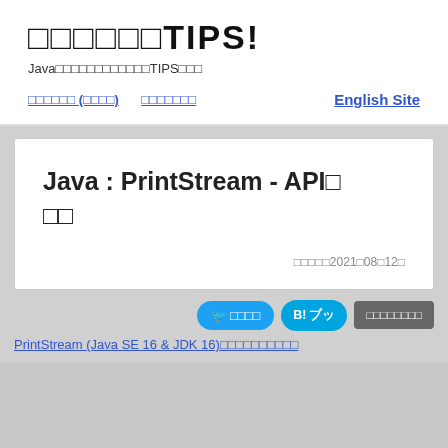□□□□□□TIPS!
Java□□□□□□□□□□□□TIPS□□□
□□□□□□ (□□□□)　□□□□□□□　English Site
Java : PrintStream - API□□□□
□□□□□2021□08□12□
🐦 □□□□　B! ブッ　□□□□□□□□
PrintStream (Java SE 16 & JDK 16)□□□□□□□□□□